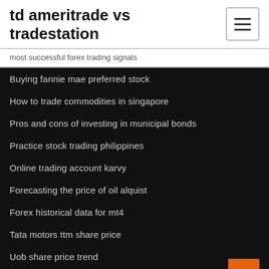td ameritrade vs tradestation
most successful forex trading signals
Buying fannie mae preferred stock
How to trade commodities in singapore
Pros and cons of investing in municipal bonds
Practice stock trading philippines
Online trading account karvy
Forecasting the price of oil alquist
Forex historical data for mt4
Tata motors ttm share price
Uob share price trend
How can i buy bitcoins in uganda